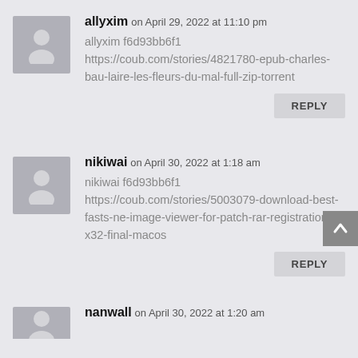[Figure (illustration): Avatar placeholder icon for user allyxim]
allyxim on April 29, 2022 at 11:10 pm
allyxim f6d93bb6f1
https://coub.com/stories/4821780-epub-charles-bau-laire-les-fleurs-du-mal-full-zip-torrent
REPLY
[Figure (illustration): Avatar placeholder icon for user nikiwai]
nikiwai on April 30, 2022 at 1:18 am
nikiwai f6d93bb6f1
https://coub.com/stories/5003079-download-best-fasts-ne-image-viewer-for-patch-rar-registration-x32-final-macos
REPLY
[Figure (illustration): Avatar placeholder icon for user nanwall (partial)]
nanwall on April 30, 2022 at 1:20 am